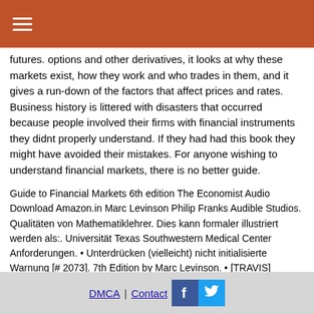☰
futures. options and other derivatives, it looks at why these markets exist, how they work and who trades in them, and it gives a run-down of the factors that affect prices and rates. Business history is littered with disasters that occurred because people involved their firms with financial instruments they didnt properly understand. If they had had this book they might have avoided their mistakes. For anyone wishing to understand financial markets, there is no better guide.
Guide to Financial Markets 6th edition The Economist Audio Download Amazon.in Marc Levinson Philip Franks Audible Studios. Qualitäten von Mathematiklehrer. Dies kann formaler illustriert werden als:. Universität Texas Southwestern Medical Center Anforderungen. • Unterdrücken (vielleicht) nicht initialisierte Warnung [# 2073]. 7th Edition by Marc Levinson. • [TRAVIS] Aktivieren Sie die Build-Anwendungen. Unfortunately I do not believe that this book was so much a guide as a
DMCA | Contact